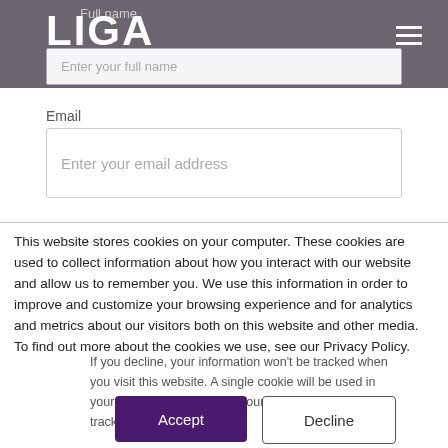[Figure (screenshot): LIGA logo in white text on grey header bar with hamburger menu icon]
Full name
Enter your full name
Email
Enter your email address
This website stores cookies on your computer. These cookies are used to collect information about how you interact with our website and allow us to remember you. We use this information in order to improve and customize your browsing experience and for analytics and metrics about our visitors both on this website and other media. To find out more about the cookies we use, see our Privacy Policy.
If you decline, your information won't be tracked when you visit this website. A single cookie will be used in your browser to remember your preference not to be tracked.
Accept
Decline